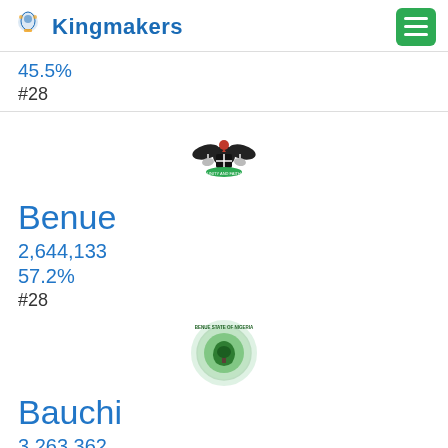Kingmakers
45.5%
#28
[Figure (logo): Nigerian coat of arms — eagle on black shield with two horses, green base]
Benue
2,644,133
57.2%
#28
[Figure (logo): Benue State of Nigeria seal — green circular badge with map/tree motif]
Bauchi
3,263,362
53%